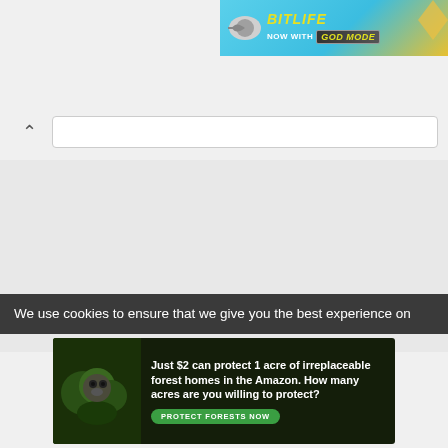[Figure (screenshot): BitLife app advertisement banner - cyan/blue background with BitLife logo and 'NOW WITH GOD MODE' text]
[Figure (screenshot): Browser UI collapse button (chevron up) and search/address bar]
[Figure (screenshot): Main browser content area - empty gray page]
We use cookies to ensure that we give you the best experience on
[Figure (photo): Amazon forest conservation advertisement - sloth image with text 'Just $2 can protect 1 acre of irreplaceable forest homes in the Amazon. How many acres are you willing to protect?' and 'PROTECT FORESTS NOW' green button]